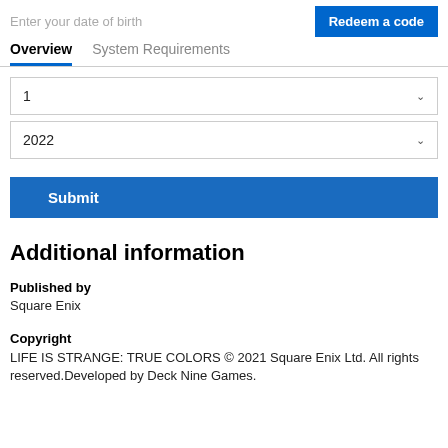Enter your date of birth
Redeem a code
Overview   System Requirements
1
2022
Submit
Additional information
Published by
Square Enix
Copyright
LIFE IS STRANGE: TRUE COLORS © 2021 Square Enix Ltd. All rights reserved.Developed by Deck Nine Games.